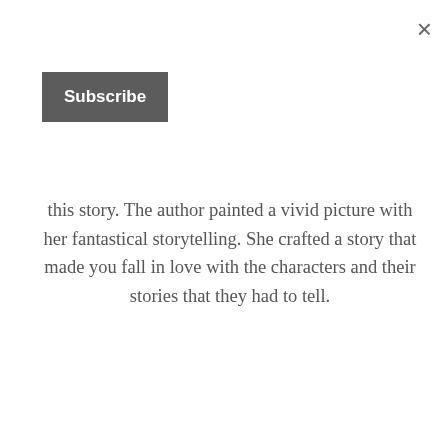[Figure (other): Close (×) button in top-right corner of a modal overlay]
[Figure (other): Dark grey Subscribe button in top-left area]
this story. The author painted a vivid picture with her fantastical storytelling. She crafted a story that made you fall in love with the characters and their stories that they had to tell.
~ Cranky – The Book Curmudgeon
Esi is one of the sweetest characters that I've encountered in a long time … Once she married Michael her strength grew and I appreciated her character even more for having to endure what she did while still keeping the faith that